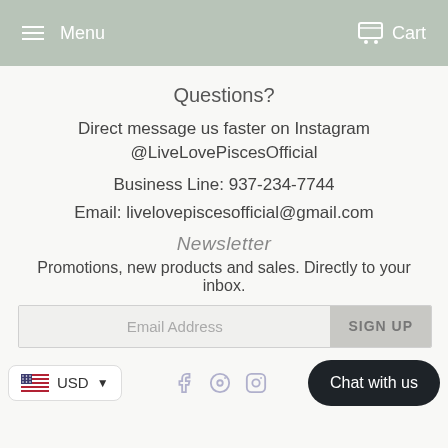Menu  Cart
Questions?
Direct message us faster on Instagram @LiveLovePiscesOfficial
Business Line: 937-234-7744
Email: livelovepiscesofficial@gmail.com
Newsletter
Promotions, new products and sales. Directly to your inbox.
Email Address  SIGN UP
USD  Chat with us